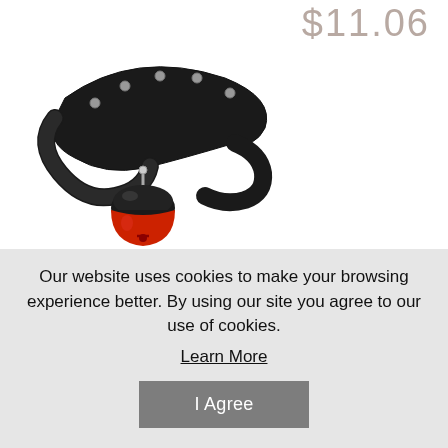$11.06
[Figure (photo): A black leather pet collar with silver studs and a bell pendant (black top, red bottom) on a white background]
adjustable fashionable and personalized designed cat pet collar with latticed
Our website uses cookies to make your browsing experience better. By using our site you agree to our use of cookies.
Learn More
I Agree